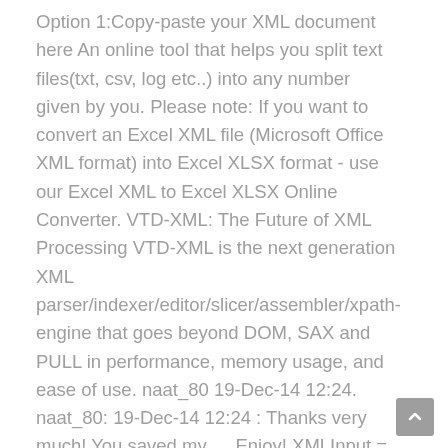Option 1:Copy-paste your XML document here An online tool that helps you split text files(txt, csv, log etc..) into any number given by you. Please note: If you want to convert an Excel XML file (Microsoft Office XML format) into Excel XLSX format - use our Excel XML to Excel XLSX Online Converter. VTD-XML: The Future of XML Processing VTD-XML is the next generation XML parser/indexer/editor/slicer/assembler/xpath-engine that goes beyond DOM, SAX and PULL in performance, memory usage, and ease of use. naat_80 19-Dec-14 12:24. naat_80: 19-Dec-14 12:24 : Thanks very much! You saved my … Enjoy! XMLInput = Yes. You can download the WXR File Splitter Application here. Note that when the input is XML, there must be a tag that surrounds all the individual sets. If you've ever imported a XML file which is above 2mg in size, you might receive an error message caused by the file size being to large. There are really nice free tools that allows you to split your XML files with just a few clicks. Then just choose the destination file (it will be overwritten without a warning). A GUI wizard that auto-generates scripts for the command-line